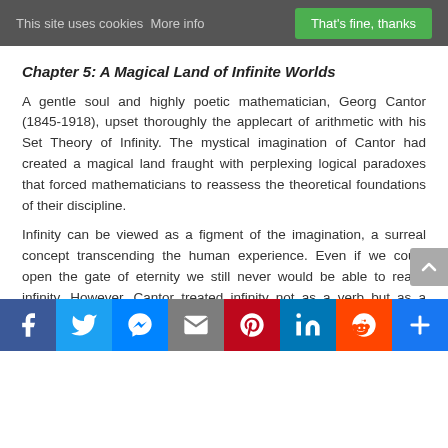This site uses cookies More info    That's fine, thanks
Chapter 5: A Magical Land of Infinite Worlds
A gentle soul and highly poetic mathematician, Georg Cantor (1845-1918), upset thoroughly the applecart of arithmetic with his Set Theory of Infinity. The mystical imagination of Cantor had created a magical land fraught with perplexing logical paradoxes that forced mathematicians to reassess the theoretical foundations of their discipline.
Infinity can be viewed as a figment of the imagination, a surreal concept transcending the human experience. Even if we could open the gate of eternity we still never would be able to reach infinity. However, Cantor treated infinity not as a verb but as a noun. Rather than approaching it as a concept with no beginning nor end, he conceived it as a hierarchy of